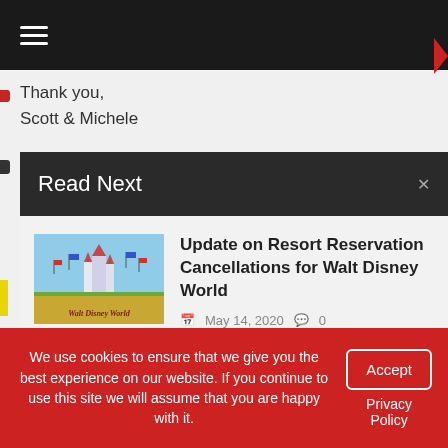☰ (navigation menu icon)
Thank you,
Scott & Michele
Read Next
Update on Resort Reservation Cancellations for Walt Disney World
May 14, 2020  💬 0
[Figure (photo): Walt Disney World entrance sign with castle in background]
Confirmed Disney Ticket Prices ARE Going Up! And Demand
[Figure (photo): Minnie Mouse illustration on green background with Walt Disney World logo]
We use cookies to ensure that we give you the best experience on our website. If you continue to use this site we will assume that you are happy with it.
Accept
Privacy Policy